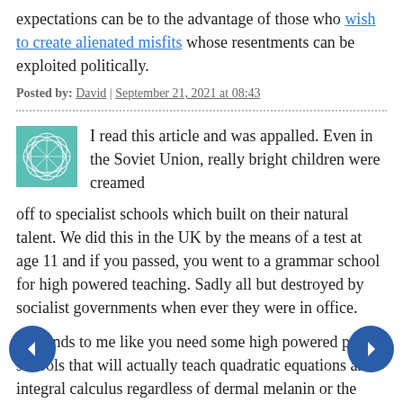expectations can be to the advantage of those who wish to create alienated misfits whose resentments can be exploited politically.
Posted by: David | September 21, 2021 at 08:43
I read this article and was appalled. Even in the Soviet Union, really bright children were creamed off to specialist schools which built on their natural talent. We did this in the UK by the means of a test at age 11 and if you passed, you went to a grammar school for high powered teaching. Sadly all but destroyed by socialist governments when ever they were in office.
It sounds to me like you need some high powered private schools that will actually teach quadratic equations and integral calculus regardless of dermal melanin or the lack of it. Maths is always cited as the universal language we